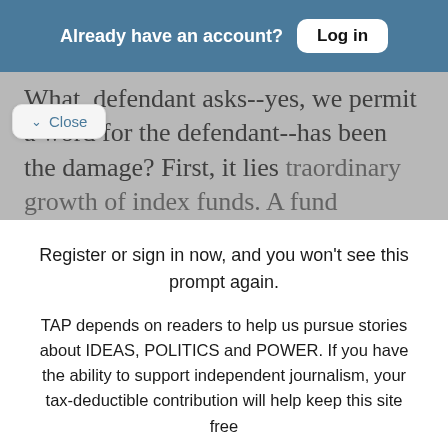Already have an account? Log in
What, defendant asks--yes, we permit a word for the defendant--has been the damage? First, it lies traordinary growth of index funds. A fund
Register or sign in now, and you won't see this prompt again.
TAP depends on readers to help us pursue stories about IDEAS, POLITICS and POWER. If you have the ability to support independent journalism, your tax-deductible contribution will help keep this site free